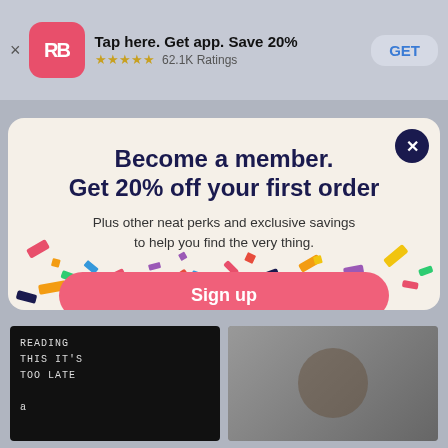[Figure (screenshot): App store banner showing Redbubble app: 'Tap here. Get app. Save 20%' with 5 stars, 62.1K Ratings, and GET button]
[Figure (screenshot): Modal popup on Redbubble website with confetti background, close button, title 'Become a member. Get 20% off your first order', subtitle about perks, Sign up button, and Already a Member Log In link]
[Figure (screenshot): Bottom strip showing two book cover thumbnails on grey background]